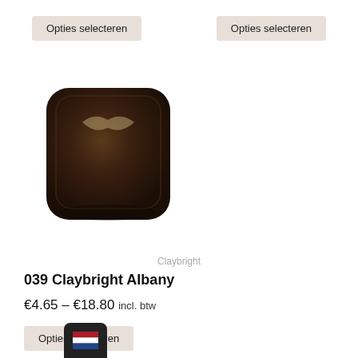Opties selecteren
Opties selecteren
[Figure (photo): Dark brown gemstone with a rounded square cabochon shape, featuring a subtle light reflection on top creating a wing-like pattern.]
Claybright
039 Claybright Albany
€4.65 – €18.80 incl. btw
Opties selecteren